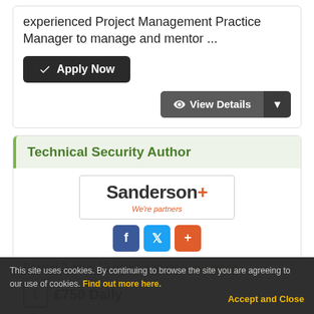experienced Project Management Practice Manager to manage and mentor ...
Apply Now
View Details
Technical Security Author
[Figure (logo): Sanderson We're partners logo]
Posted 2 days 12 hours ago by Sanderson
£750 Daily
Permanent
Not Specified
This site uses cookies. By continuing to browse the site you are agreeing to our use of cookies. Find out more here. Accept and Close